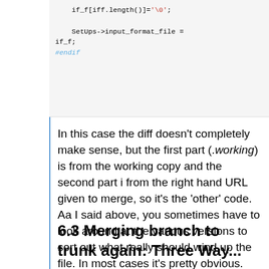[Figure (screenshot): Code block showing C/C++ snippet with if_f array assignment, SetUps->input_format_file assignment, and #endif directive]
In this case the diff doesn't completely make sense, but the first part (.working) is from the working copy and the second part is from the right hand URL given to merge, so it's the 'other' code. Aa I said above, you sometimes have to look around at the various versions to sort out what really should wind up the file. In most cases it's pretty obvious.
6.3 Merging branch to trunk again: Three Way...